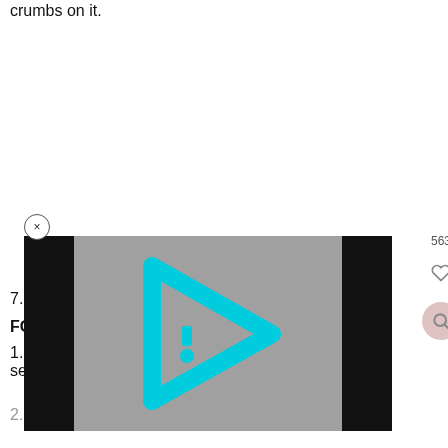crumbs on it.
7. Let cool …
FOR THE SOA…
1. In a micro… ut 30 seconds.
2. Stir in the Jell-O powder until dissolved.
[Figure (screenshot): Video player overlay with a cyan/teal triangular play button icon on a gray background, flanked by black letterbox bars. A close (×) button appears at top-left of the overlay. To the right are a like count '563' and circular heart and search buttons.]